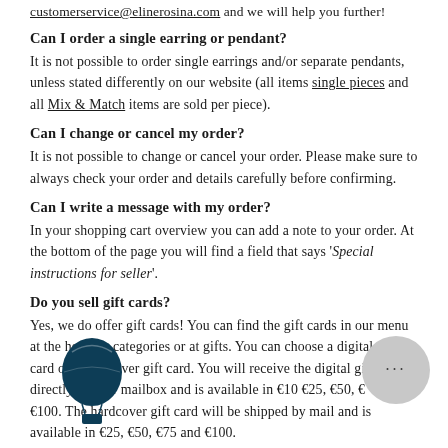customerservice@elinerosina.com and we will help you further!
Can I order a single earring or pendant?
It is not possible to order single earrings and/or separate pendants, unless stated differently on our website (all items single pieces and all Mix & Match items are sold per piece).
Can I change or cancel my order?
It is not possible to change or cancel your order. Please make sure to always check your order and details carefully before confirming.
Can I write a message with my order?
In your shopping cart overview you can add a note to your order. At the bottom of the page you will find a field that says 'Special instructions for seller'.
Do you sell gift cards?
Yes, we do offer gift cards! You can find the gift cards in our menu at the heading categories or at gifts. You can choose a digital gift card or a hardcover gift card. You will receive the digital gift card directly in your mailbox and is available in €10 €25, €50, €75 and €100. The hardcover gift card will be shipped by mail and is available in €25, €50, €75 and €100.